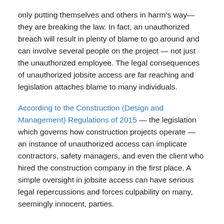only putting themselves and others in harm's way— they are breaking the law. In fact, an unauthorized breach will result in plenty of blame to go around and can involve several people on the project — not just the unauthorized employee. The legal consequences of unauthorized jobsite access are far reaching and legislation attaches blame to many individuals.
According to the Construction (Design and Management) Regulations of 2015 — the legislation which governs how construction projects operate — an instance of unauthorized access can implicate contractors, safety managers, and even the client who hired the construction company in the first place. A simple oversight in jobsite access can have serious legal repercussions and forces culpability on many, seemingly innocent, parties.